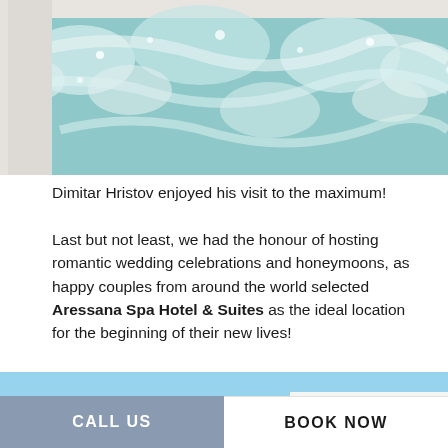[Figure (photo): Close-up photo of a bubbling hot tub or jacuzzi with turquoise water and white marble surround]
Dimitar Hristov enjoyed his visit to the maximum!
Last but not least, we had the honour of hosting romantic wedding celebrations and honeymoons, as happy couples from around the world selected Aressana Spa Hotel & Suites as the ideal location for the beginning of their new lives!
[Figure (photo): Exterior photo of a white hotel building with pink bougainvillea flowers and palm plants under a bright blue sky, with an arched window visible]
CALL US    BOOK NOW